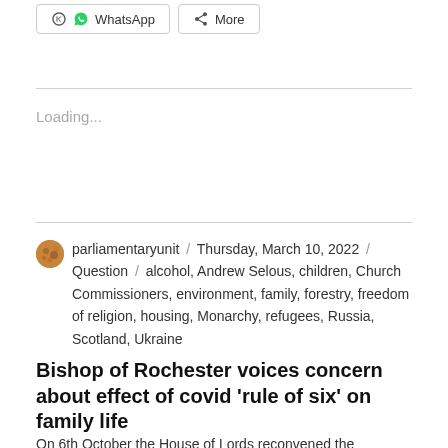[Figure (other): WhatsApp and More share buttons at top of page]
Loading...
parliamentaryunit / Thursday, March 10, 2022 / Question / alcohol, Andrew Selous, children, Church Commissioners, environment, family, forestry, freedom of religion, housing, Monarchy, refugees, Russia, Scotland, Ukraine
Bishop of Rochester voices concern about effect of covid 'rule of six' on family life
On 6th October the House of Lords reconvened the...